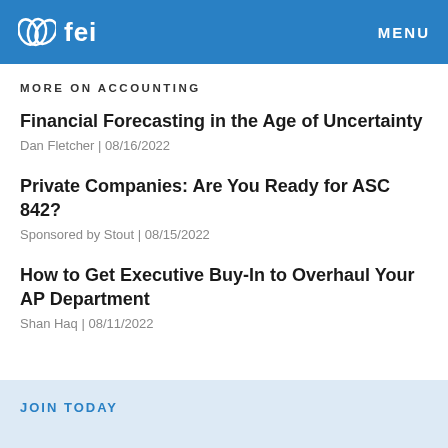fei | MENU
MORE ON ACCOUNTING
Financial Forecasting in the Age of Uncertainty
Dan Fletcher | 08/16/2022
Private Companies: Are You Ready for ASC 842?
Sponsored by Stout | 08/15/2022
How to Get Executive Buy-In to Overhaul Your AP Department
Shan Haq | 08/11/2022
JOIN TODAY